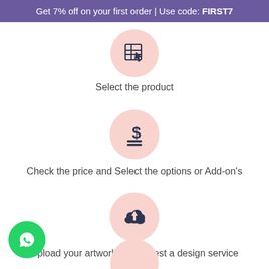Get 7% off on your first order | Use code: FIRST7
[Figure (infographic): Product selection icon: a grid/table with a cursor arrow inside a pink circle]
Select the product
[Figure (infographic): Dollar sign with stacked lines (price/payment) icon inside a pink circle]
Check the price and Select the options or Add-on's
[Figure (infographic): Cloud upload icon inside a pink circle]
Upload your artwork or Request a design service
[Figure (logo): WhatsApp logo button (green circle with white phone icon)]
[Figure (infographic): Partially visible pink circle at the bottom of the page (next step icon)]